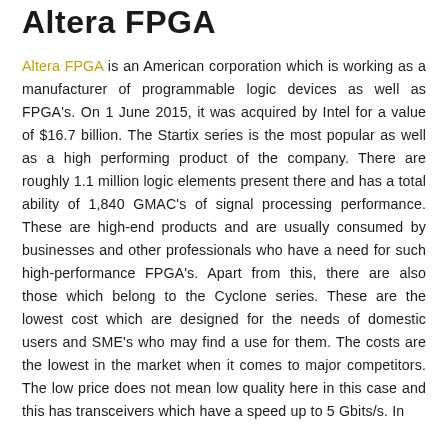Altera FPGA
Altera FPGA is an American corporation which is working as a manufacturer of programmable logic devices as well as FPGA's. On 1 June 2015, it was acquired by Intel for a value of $16.7 billion. The Startix series is the most popular as well as a high performing product of the company. There are roughly 1.1 million logic elements present there and has a total ability of 1,840 GMAC's of signal processing performance. These are high-end products and are usually consumed by businesses and other professionals who have a need for such high-performance FPGA's. Apart from this, there are also those which belong to the Cyclone series. These are the lowest cost which are designed for the needs of domestic users and SME's who may find a use for them. The costs are the lowest in the market when it comes to major competitors. The low price does not mean low quality here in this case and this has transceivers which have a speed up to 5 Gbits/s. In